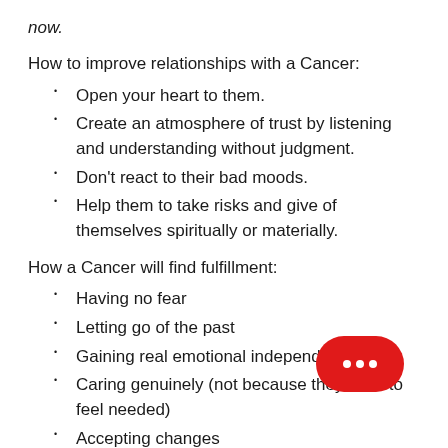now.
How to improve relationships with a Cancer:
Open your heart to them.
Create an atmosphere of trust by listening and understanding without judgment.
Don't react to their bad moods.
Help them to take risks and give of themselves spiritually or materially.
How a Cancer will find fulfillment:
Having no fear
Letting go of the past
Gaining real emotional independence
Caring genuinely (not because they want to feel needed)
Accepting changes
Letting go of their cynical side